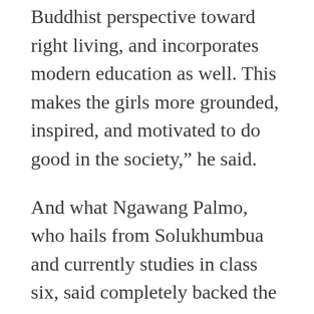Buddhist perspective toward right living, and incorporates modern education as well. This makes the girls more grounded, inspired, and motivated to do good in the society,” he said.
And what Ngawang Palmo, who hails from Solukhumbua and currently studies in class six, said completely backed the Rinpoche’s statement. “My aim is to help those who are less fortunate than me. I want to do good like the Rinpoche and my teachers,” she said.
The att...